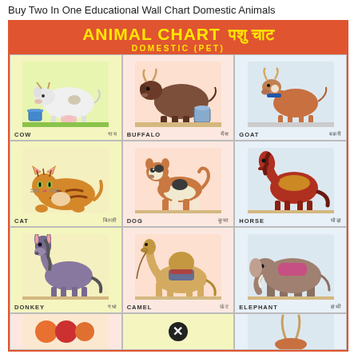Buy Two In One Educational Wall Chart Domestic Animals
[Figure (illustration): Animal Chart - Domestic (Pet) educational wall chart showing illustrations of domestic animals: Cow (गाय), Buffalo (भैंस), Goat (बकरी), Cat (बिल्ली), Dog (कुत्ता), Horse (घोड़ा), Donkey (गधा), Camel (ऊंट), Elephant (हाथी), and partial bottom row animals. Title in English and Hindi (पशु चाट) on red banner. Grid of 3 columns with colored animal illustrations labeled in English and Hindi.]